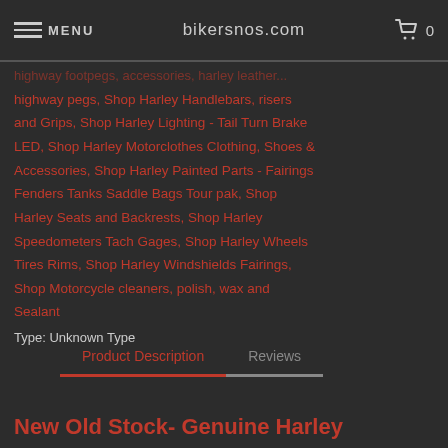MENU | bikersnos.com | 0
highway pegs, Shop Harley Handlebars, risers and Grips, Shop Harley Lighting - Tail Turn Brake LED, Shop Harley Motorclothes Clothing, Shoes & Accessories, Shop Harley Painted Parts - Fairings Fenders Tanks Saddle Bags Tour pak, Shop Harley Seats and Backrests, Shop Harley Speedometers Tach Gages, Shop Harley Wheels Tires Rims, Shop Harley Windshields Fairings, Shop Motorcycle cleaners, polish, wax and Sealant
Type: Unknown Type
Product Description | Reviews
New Old Stock- Genuine Harley